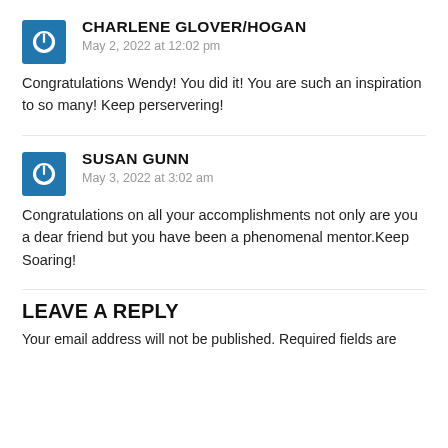CHARLENE GLOVER/HOGAN
May 2, 2022 at 12:02 pm
Congratulations Wendy! You did it! You are such an inspiration to so many! Keep perservering!
SUSAN GUNN
May 3, 2022 at 3:02 am
Congratulations on all your accomplishments not only are you a dear friend but you have been a phenomenal mentor.Keep Soaring!
LEAVE A REPLY
Your email address will not be published. Required fields are